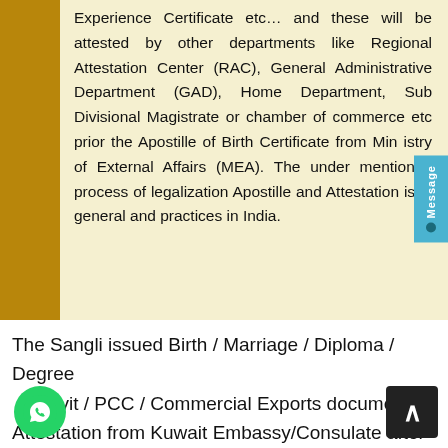Experience Certificate etc… and these will be attested by other departments like Regional Attestation Center (RAC), General Administrative Department (GAD), Home Department, Sub Divisional Magistrate or chamber of commerce etc prior the Apostille of Birth Certificate from Min istry of External Affairs (MEA). The under mentioned process of legalization Apostille and Attestation is in general and practices in India.
The Sangli issued Birth / Marriage / Diploma / Degree avit / PCC / Commercial Exports documents Attestation from Kuwait Embassy/Consulate after the